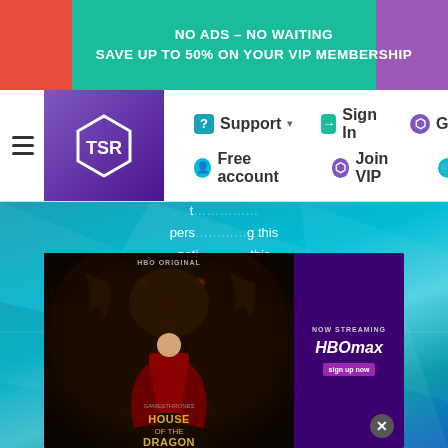NO ADS – NO WAITING
SAVE UP TO 50% ON YOUR VIP MEMBERSHIP
[Figure (logo): TSR logo – white geometric hexagon with TSR text on purple background]
Support ▾   Sign In   Gif
Free account   Join VIP
[Figure (screenshot): Website main area with teal/blue geometric polygon background]
We u… accept t… perso… g this noti… this no… ou d…
[Figure (photo): HBO Original House of the Dragon advertisement – character in red dress in front of dragon, with HBO Max Now Streaming branding on purple right panel, close button (X) at bottom right]